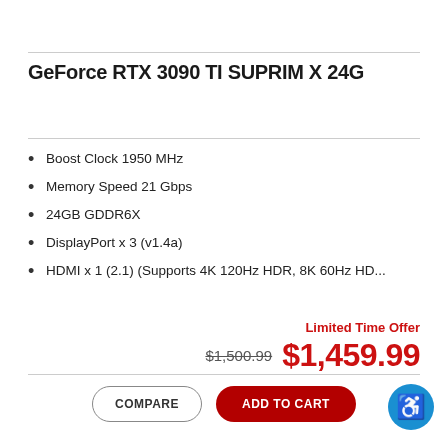GeForce RTX 3090 TI SUPRIM X 24G
Boost Clock 1950 MHz
Memory Speed 21 Gbps
24GB GDDR6X
DisplayPort x 3 (v1.4a)
HDMI x 1 (2.1) (Supports 4K 120Hz HDR, 8K 60Hz HD...
Limited Time Offer
$1,500.99 $1,459.99